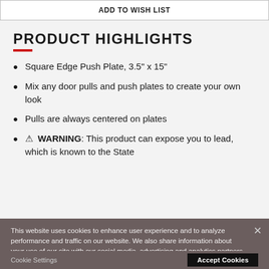ADD TO WISH LIST
PRODUCT HIGHLIGHTS
Square Edge Push Plate, 3.5" x 15"
Mix any door pulls and push plates to create your own look
Pulls are always centered on plates
⚠ WARNING: This product can expose you to lead, which is known to the State
This website uses cookies to enhance user experience and to analyze performance and traffic on our website. We also share information about your use of our site with our social media, advertising and analytics partners. Cookie Policy
Cookie Settings   Accept Cookies